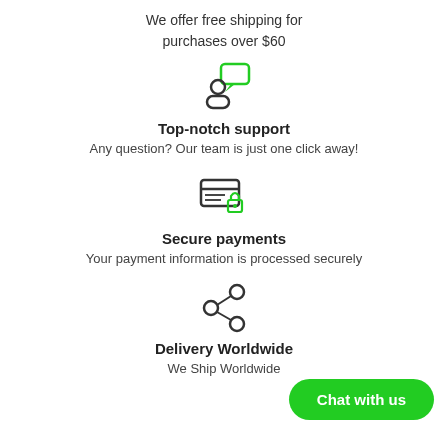We offer free shipping for purchases over $60
[Figure (illustration): Icon of a person with a speech bubble (customer support icon)]
Top-notch support
Any question? Our team is just one click away!
[Figure (illustration): Icon of a credit card with a lock (secure payments icon)]
Secure payments
Your payment information is processed securely
[Figure (illustration): Icon of a share/network symbol with three circles connected (delivery worldwide icon)]
Delivery Worldwide
We Ship Worldwide